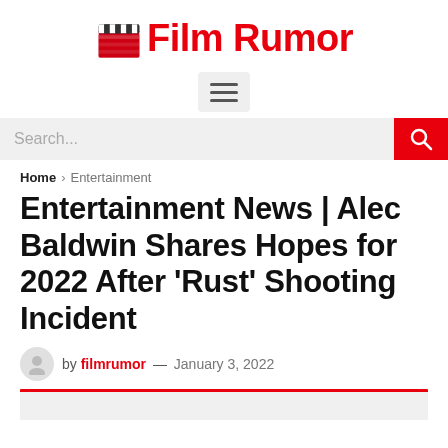Film Rumor
[Figure (logo): Film Rumor logo with red clapperboard icon and red bold text 'Film Rumor']
[Figure (other): Hamburger menu button with three horizontal lines on light gray background]
[Figure (other): Search bar with 'Search...' placeholder text and red search button with magnifying glass icon]
Home > Entertainment
Entertainment News | Alec Baldwin Shares Hopes for 2022 After ‘Rust’ Shooting Incident
by filmrumor — January 3, 2022